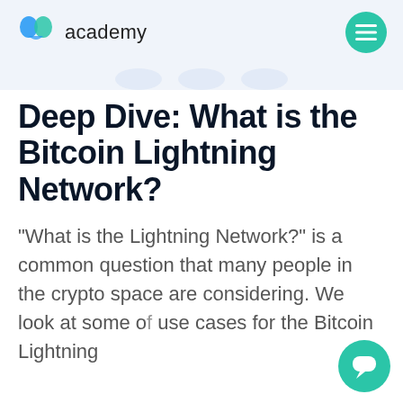academy
Deep Dive: What is the Bitcoin Lightning Network?
“What is the Lightning Network?” is a common question that many people in the crypto space are considering. We look at some of the use cases for the Bitcoin Lightning